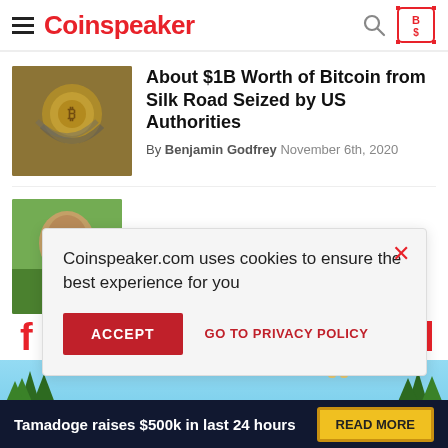Coinspeaker
About $1B Worth of Bitcoin from Silk Road Seized by US Authorities
By Benjamin Godfrey November 6th, 2020
[Figure (photo): Gold Bitcoin coins with chain]
[Figure (photo): Portrait of Benjamin Godfrey outdoors]
Coinspeaker.com uses cookies to ensure the best experience for you
ACCEPT  GO TO PRIVACY POLICY
[Figure (infographic): Tamadoge advertisement banner: Tamadoge raises $500k in last 24 hours. READ MORE button.]